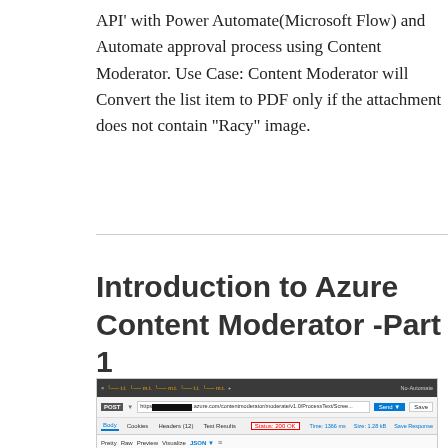API' with Power Automate(Microsoft Flow) and Automate approval process using Content Moderator. Use Case: Content Moderator will Convert the list item to PDF only if the attachment does not contain "Racy" image.
Introduction to Azure Content Moderator -Part 1
[Figure (screenshot): Screenshot of a Postman-like API testing interface showing a POST request to an Azure Content Moderator endpoint. The response tab shows status 200 OK highlighted in red. The JSON response body contains fields like OriginalText, NormalizedText, AutoCorrectedText, Misrepresentation, PII, with email and phone data redacted.]